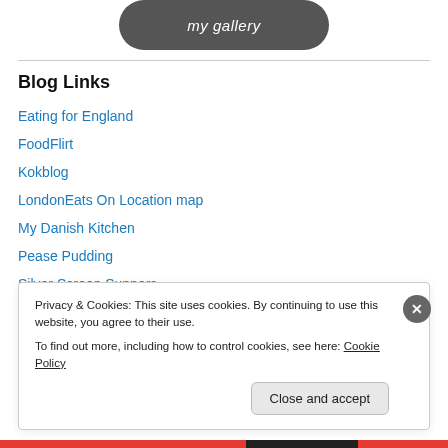[Figure (other): Dark rounded rectangle button with italic white text 'my gallery']
Blog Links
Eating for England
FoodFlirt
Kokblog
LondonEats On Location map
My Danish Kitchen
Pease Pudding
Silver Screen Suppers
Privacy & Cookies: This site uses cookies. By continuing to use this website, you agree to their use. To find out more, including how to control cookies, see here: Cookie Policy
Close and accept